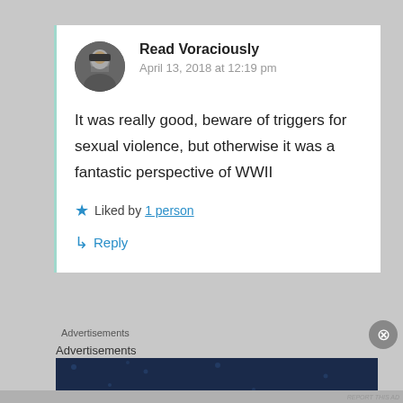Read Voraciously
April 13, 2018 at 12:19 pm
It was really good, beware of triggers for sexual violence, but otherwise it was a fantastic perspective of WWII
★ Liked by 1 person
↳ Reply
Advertisements
Advertisements
[Figure (screenshot): Advertisement banner with dark navy background showing 'Create surveys, polls, quizzes, and forms.' with WordPress and FreshScan logos]
REPORT THIS AD